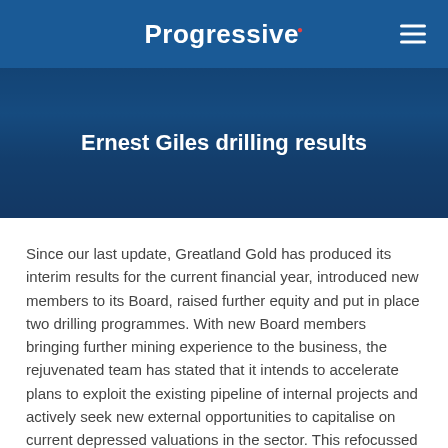Progressive
Ernest Giles drilling results
Since our last update, Greatland Gold has produced its interim results for the current financial year, introduced new members to its Board, raised further equity and put in place two drilling programmes. With new Board members bringing further mining experience to the business, the rejuvenated team has stated that it intends to accelerate plans to exploit the existing pipeline of internal projects and actively seek new external opportunities to capitalise on current depressed valuations in the sector. This refocussed